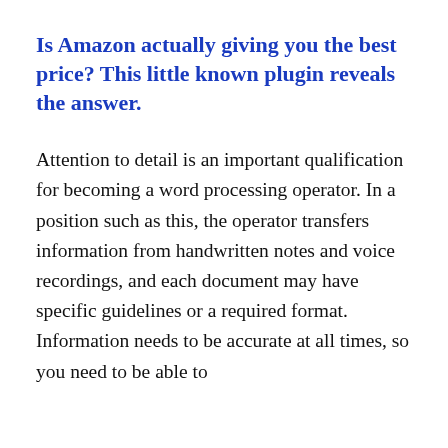Is Amazon actually giving you the best price? This little known plugin reveals the answer.
Attention to detail is an important qualification for becoming a word processing operator. In a position such as this, the operator transfers information from handwritten notes and voice recordings, and each document may have specific guidelines or a required format. Information needs to be accurate at all times, so you need to be able to